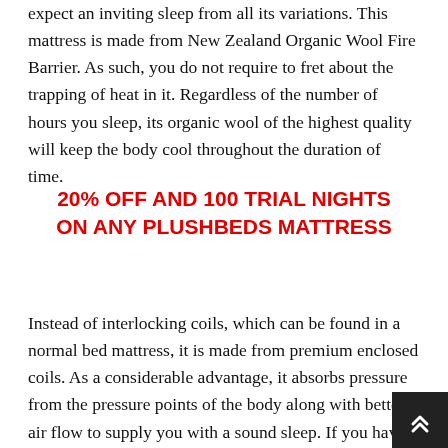expect an inviting sleep from all its variations. This mattress is made from New Zealand Organic Wool Fire Barrier. As such, you do not require to fret about the trapping of heat in it. Regardless of the number of hours you sleep, its organic wool of the highest quality will keep the body cool throughout the duration of time.
20% OFF AND 100 TRIAL NIGHTS ON ANY PLUSHBEDS MATTRESS
Instead of interlocking coils, which can be found in a normal bed mattress, it is made from premium enclosed coils. As a considerable advantage, it absorbs pressure from the pressure points of the body along with better air flow to supply you with a sound sleep. If you have actually ever heard that sleeping on organic latex belongs to sleeping on a